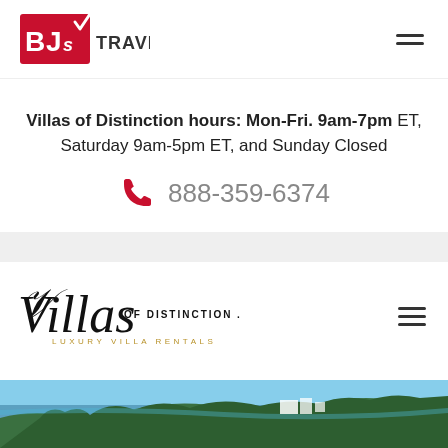[Figure (logo): BJ's Travel logo with red box containing 'BJs' text and 'TRAVEL' in bold, plus hamburger menu icon]
Villas of Distinction hours: Mon-Fri. 9am-7pm ET, Saturday 9am-5pm ET, and Sunday Closed
888-359-6374
[Figure (logo): Villas of Distinction Luxury Villa Rentals logo in italic script with hamburger menu icon]
[Figure (photo): Coastal aerial photo showing tropical hillside with luxury villas, ocean view, and lush green trees]